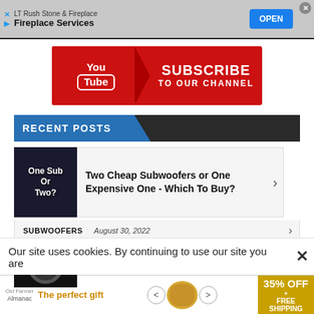[Figure (screenshot): Top advertisement banner for LT Rush Stone & Fireplace Fireplace Services with OPEN button]
[Figure (screenshot): YouTube Subscribe To Our Channel red banner with YouTube logo and arrow]
RECENT POSTS
[Figure (photo): Thumbnail image with text: One Sub Or Two?]
Two Cheap Subwoofers or One Expensive One - Which To Buy?
SUBWOOFERS   August 30, 2022
[Figure (photo): Thumbnail of headphones]
soundcore Space A40 and Q45 Headphone Review - Insane Value at
Our site uses cookies. By continuing to use our site you are
[Figure (screenshot): Bottom advertisement: The perfect gift with 35% OFF + FREE SHIPPING]